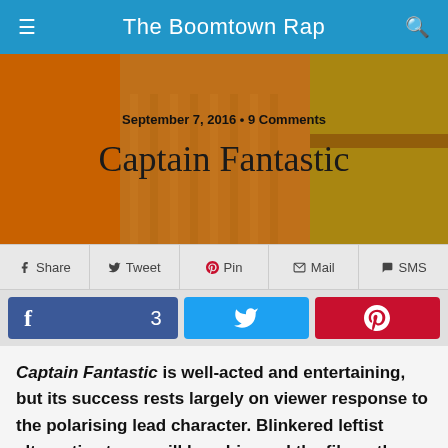The Boomtown Rap
[Figure (photo): Hero image showing colorfully dressed people (orange, patterned, yellow-green clothing), overlaid with article date and title.]
September 7, 2016 • 9 Comments
Captain Fantastic
Share  Tweet  Pin  Mail  SMS
f 3  [Twitter bird]  [Pinterest P]
Captain Fantastic is well-acted and entertaining, but its success rests largely on viewer response to the polarising lead character. Blinkered leftist alternative types will love him and the film; others may be less enthused.